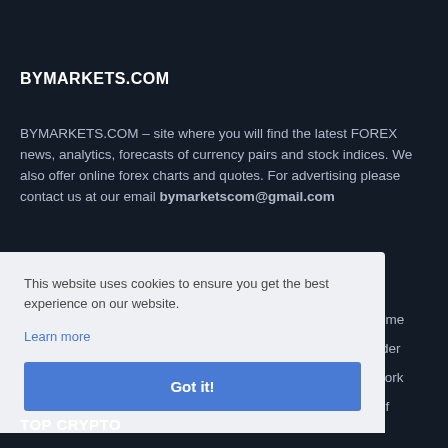BYMARKETS.COM
BYMARKETS.COM – site where you will find the latest FOREX news, analytics, forecasts of currency pairs and stock indices. We also offer online forex charts and quotes. For advertising please contact us at our email bymarketscom@gmail.com
This website uses cookies to ensure you get the best experience on our website.
Learn more
Got it!
TOP CRYPTO